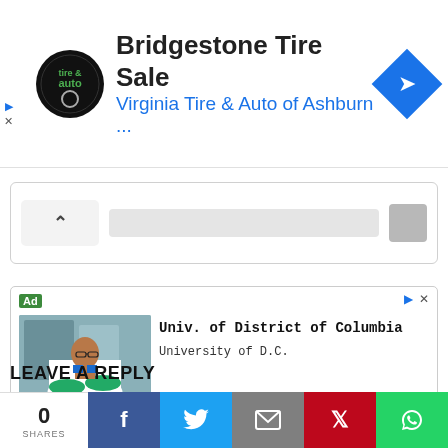[Figure (screenshot): Top advertisement banner for Bridgestone Tire Sale - Virginia Tire & Auto of Ashburn with circular logo and blue diamond navigation icon]
[Figure (screenshot): Collapsed card UI element with chevron up arrow and gray bar]
[Figure (screenshot): Advertisement block for University of District of Columbia featuring photo of man in lab coat with arms crossed, with Ad badge, headline and subline text]
LEAVE A REPLY
[Figure (infographic): Social share bar with 0 shares count, Facebook, Twitter, Email, Pinterest, and WhatsApp buttons]